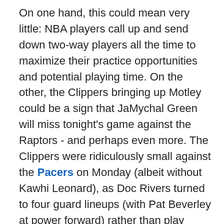On one hand, this could mean very little: NBA players call up and send down two-way players all the time to maximize their practice opportunities and potential playing time. On the other, the Clippers bringing up Motley could be a sign that JaMychal Green will miss tonight's game against the Raptors - and perhaps even more. The Clippers were ridiculously small against the Pacers on Monday (albeit without Kawhi Leonard), as Doc Rivers turned to four guard lineups (with Pat Beverley at power forward) rather than play rookie Mfiondu Kabengele. Such lineups are, of course, not sustainable, and Motley's ability to play the 4 or the 5 will prevent those situations from being forced on Doc again.
Of course, even with Motley with the LA Clippers, it's possible he doesn't play. He's only appeared in two